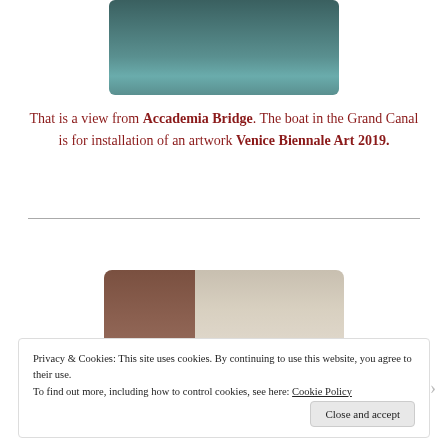[Figure (photo): Partial view of water (Grand Canal) with boats, viewed from above, likely from Accademia Bridge]
That is a view from Accademia Bridge. The boat in the Grand Canal is for installation of an artwork Venice Biennale Art 2019.
[Figure (photo): View of historic Venetian building with ornate facade and open sky, along with a dark red/brown building on the left]
Privacy & Cookies: This site uses cookies. By continuing to use this website, you agree to their use.
To find out more, including how to control cookies, see here: Cookie Policy